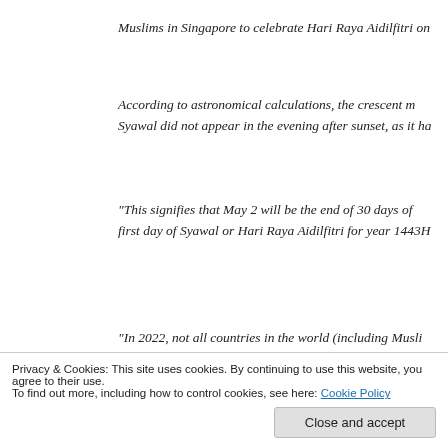Muslims in Singapore to celebrate Hari Raya Aidilfitri on
According to astronomical calculations, the crescent m... Syawal did not appear in the evening after sunset, as it ha...
“This signifies that May 2 will be the end of 30 days of... first day of Syawal or Hari Raya Aidilfitri for year 1443H
“In 2022, not all countries in the world (including Musli... Ramadan and Aidilfitri on the same dates. Indeed, the cr... sighted in a few other countries, and as a consequence, th... on Tuesday 3 May, like Singapore.”
The charm of living in different countries is that you are s
Privacy & Cookies: This site uses cookies. By continuing to use this website, you agree to their use.
To find out more, including how to control cookies, see here: Cookie Policy
Close and accept